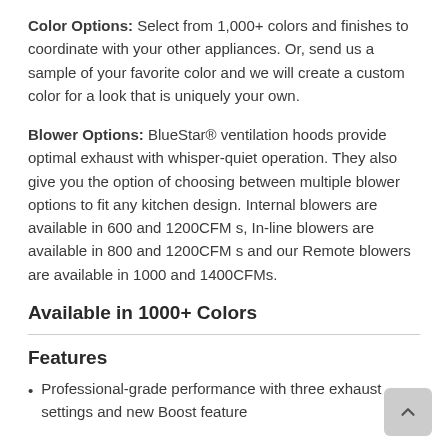Color Options: Select from 1,000+ colors and finishes to coordinate with your other appliances. Or, send us a sample of your favorite color and we will create a custom color for a look that is uniquely your own.
Blower Options: BlueStar® ventilation hoods provide optimal exhaust with whisper-quiet operation. They also give you the option of choosing between multiple blower options to fit any kitchen design. Internal blowers are available in 600 and 1200CFM s, In-line blowers are available in 800 and 1200CFM s and our Remote blowers are available in 1000 and 1400CFMs.
Available in 1000+ Colors
Features
Professional-grade performance with three exhaust settings and new Boost feature